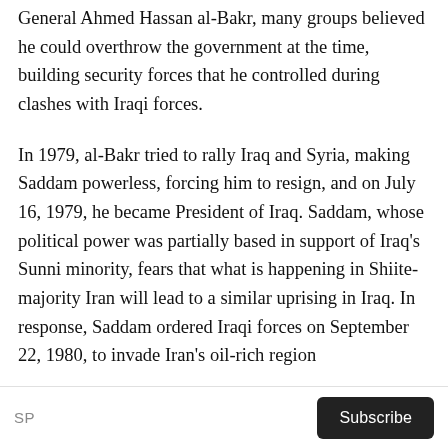General Ahmed Hassan al-Bakr, many groups believed he could overthrow the government at the time, building security forces that he controlled during clashes with Iraqi forces.
In 1979, al-Bakr tried to rally Iraq and Syria, making Saddam powerless, forcing him to resign, and on July 16, 1979, he became President of Iraq. Saddam, whose political power was partially based in support of Iraq's Sunni minority, fears that what is happening in Shiite-majority Iran will lead to a similar uprising in Iraq. In response, Saddam ordered Iraqi forces on September 22, 1980, to invade Iran's oil-rich region
SP | Subscribe